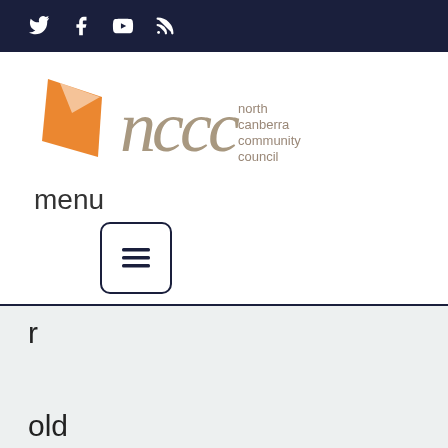Twitter Facebook YouTube RSS
[Figure (logo): North Canberra Community Council logo with orange geometric shape and stylized 'nccc' text with 'north canberra community council' written beside it]
menu
[Figure (other): Hamburger menu icon button — three horizontal lines inside a rounded rectangle border]
r

old

mal

e

taxi

driv

er

due